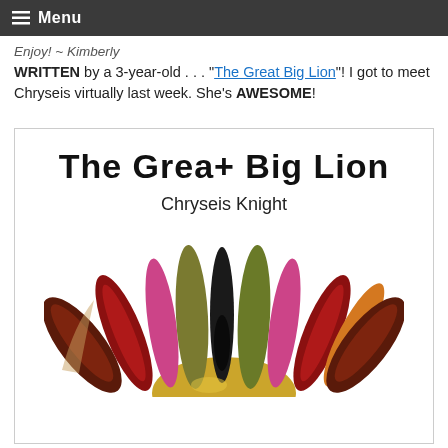Menu
Enjoy! ~ Kimberly
WRITTEN by a 3-year-old . . . "The Great Big Lion"! I got to meet Chryseis virtually last week. She's AWESOME!
[Figure (illustration): Book cover for 'The Great Big Lion' by Chryseis Knight, showing a decorative lion mane made of colorful feathers and fabric pieces in red, pink, gold, dark green, orange, and patterned textiles, with a golden circular sun shape at the bottom center.]